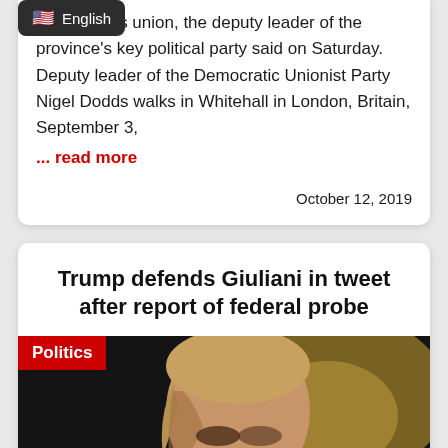[Figure (screenshot): English language selector badge with US flag icon]
om customs union, the deputy leader of the province's key political party said on Saturday. Deputy leader of the Democratic Unionist Party Nigel Dodds walks in Whitehall in London, Britain, September 3,
... read more
October 12, 2019
Trump defends Giuliani in tweet after report of federal probe
[Figure (photo): Photo of Donald Trump with Politics category badge overlay]
Politics